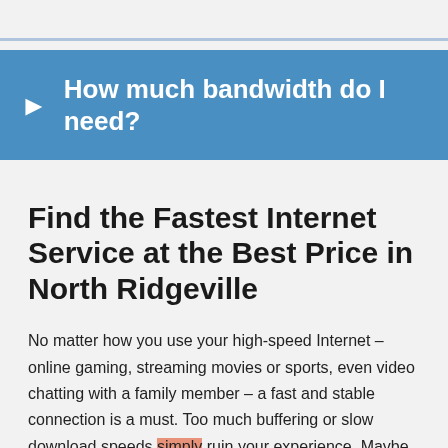How much bandwidth do I need?
Find the Fastest Internet Service at the Best Price in North Ridgeville
No matter how you use your high-speed Internet – online gaming, streaming movies or sports, even video chatting with a family member – a fast and stable connection is a must. Too much buffering or slow download speeds simply ruin your experience. Maybe you need to look for a new Internet provider?